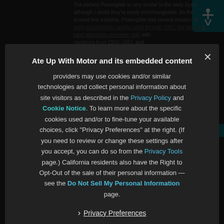The earliest Powerglide is very similar to the early DynaFlow, although I doubt they're easily interchangeable. As the revised text explains, Powerglide had several phases: the early dual-impeller variety, used through 1952; the later iron case aluminum converter unit, with variations from 1952–1963; and the aluminum Powerglide...
[Figure (screenshot): Cookie consent modal overlay on a dark background. The modal contains text about Ate Up With Motor and embedded content providers using cookies and/or similar technologies, with links to Privacy Policy, Cookie Notice, Privacy Tools, and Do Not Sell My Personal Information. Includes a Privacy Preferences link with chevron and an I Agree button.]
Ate Up With Motor and its embedded content providers may use cookies and/or similar technologies and collect personal information about site visitors as described in the Privacy Policy and Cookie Notice. To learn more about the specific cookies used and/or to fine-tune your available choices, click "Privacy Preferences" at the right. (If you need to review or change these settings after you accept, you can do so from the Privacy Tools page.) California residents also have the Right to Opt-Out of the sale of their personal information — see the Do Not Sell My Personal Information page.
› Privacy Preferences
I Agree